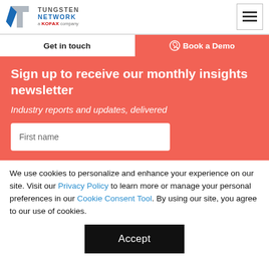[Figure (logo): Tungsten Network, a Kofax company logo with stylized T mark in blue/grey]
Get in touch
Book a Demo
Sign up to receive our monthly insights newsletter
Industry reports and updates, delivered
First name
We use cookies to personalize and enhance your experience on our site. Visit our Privacy Policy to learn more or manage your personal preferences in our Cookie Consent Tool. By using our site, you agree to our use of cookies.
Accept